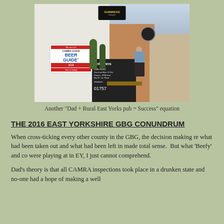[Figure (photo): Exterior of a rural East Yorkshire pub with a white-painted building, Guinness sign, CAMRA Good Beer Guide 2018 signage, a chalkboard menu reading 'cobelans Live Music', and a man standing on the pavement outside.]
Another "Dad + Rural East Yorks pub = Success" equation
THE 2016 EAST YORKSHIRE GBG CONUNDRUM
When cross-ticking every other county in the GBG, the decision making re what had been taken out and what had been left in made total sense.  But what 'Beefy' and co were playing at in EY, I just cannot comprehend.
Dad's theory is that all CAMRA inspections took place in a drunken state and no-one had a hope of making a well